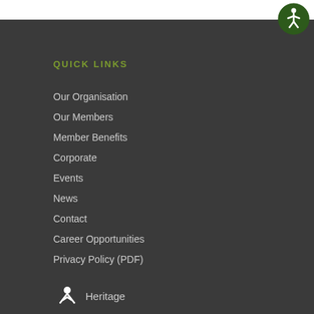[Figure (illustration): Accessibility icon — circular dark green button with a white stick figure person in an active pose]
QUICK LINKS
Our Organisation
Our Members
Member Benefits
Corporate
Events
News
Contact
Career Opportunities
Privacy Policy (PDF)
[Figure (logo): Heritage organisation logo with figure icon and 'Heritage' text]